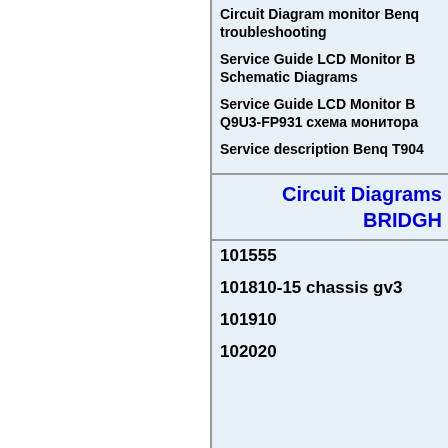Circuit Diagram monitor Benq troubleshooting
Service Guide LCD Monitor B Schematic Diagrams
Service Guide LCD Monitor B Q9U3-FP931 схема монитора
Service description Benq T904
Circuit Diagrams BRIDGE
101555
101810-15 chassis gv3
101910
102020